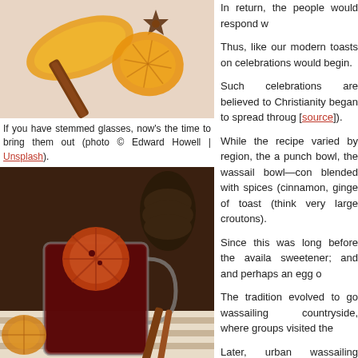[Figure (photo): Top photo showing orange peel, cinnamon stick, and star anise on a pink background]
If you have stemmed glasses, now's the time to bring them out (photo © Edward Howell | Unsplash).
[Figure (photo): Photo of a glass mug of dark red mulled wine/wassail with a dried orange slice on top, surrounded by cinnamon sticks, dried orange slices, and pine cone]
In return, the people would respond w
Thus, like our modern toasts on celebrations would begin.
Such celebrations are believed to Christianity began to spread throug [source]).
While the recipe varied by region, the a punch bowl, the wassail bowl—con blended with spices (cinnamon, ginge of toast (think very large croutons).
Since this was long before the availa sweetener; and and perhaps an egg o
The tradition evolved to go wassailing countryside, where groups visited the
Later, urban wassailing evolved into one house to another, singing traditio call caroling.
Wassailing generally take places on some people still celebrate it on "Old date before the introduction of the Gre